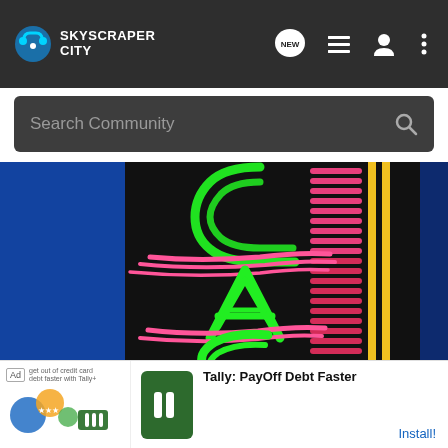[Figure (logo): SkyscraperCity logo with headphones icon in blue/green]
[Figure (photo): Close-up photograph of neon sign letters C, A, S in green neon with pink/red neon decorative elements on a dark background, set against a blue night sky]
[Figure (infographic): Advertisement banner for Tally: PayOff Debt Faster app with green app icon showing two vertical bars, ad label, small circles graphic, and Install button]